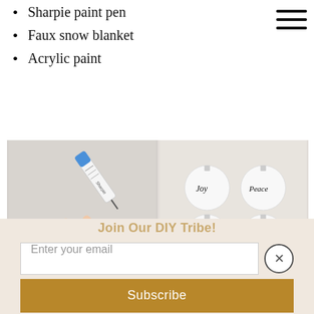Sharpie paint pen
Faux snow blanket
Acrylic paint
[Figure (photo): Two side-by-side photos: left shows a hand writing 'Merry' on a white Christmas ornament with a Sharpie paint pen; right shows six white ornaments with calligraphy words: Joy, Peace, Merry, Bright, Noel, Ho ho ho]
Join Our DIY Tribe!
Enter your email
Subscribe